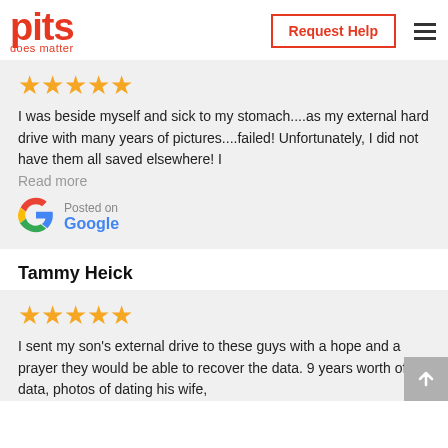pits does matter | Request Help | ☰
[Figure (other): Five orange stars rating]
I was beside myself and sick to my stomach....as my external hard drive with many years of pictures....failed! Unfortunately, I did not have them all saved elsewhere! I
Read more
[Figure (logo): Google G logo]
Posted on Google
Tammy Heick
[Figure (other): Five orange stars rating]
I sent my son's external drive to these guys with a hope and a prayer they would be able to recover the data. 9 years worth of data, photos of dating his wife,